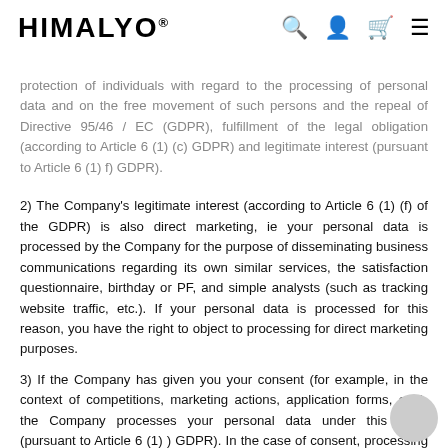HIMALYO® [search] [account] [cart] [menu]
protection of individuals with regard to the processing of personal data and on the free movement of such persons and the repeal of Directive 95/46 / EC (GDPR), fulfillment of the legal obligation (according to Article 6 (1) (c) GDPR) and legitimate interest (pursuant to Article 6 (1) f) GDPR).
2) The Company's legitimate interest (according to Article 6 (1) (f) of the GDPR) is also direct marketing, ie your personal data is processed by the Company for the purpose of disseminating business communications regarding its own similar services, the satisfaction questionnaire, birthday or PF, and simple analysts (such as tracking website traffic, etc.). If your personal data is processed for this reason, you have the right to object to processing for direct marketing purposes.
3) If the Company has given you your consent (for example, in the context of competitions, marketing actions, application forms, etc.), the Company processes your personal data under this grant (pursuant to Article 6 (1) ) GDPR). In the case of consent, processing is being carried out for the purpose of offering services, sending business communications and